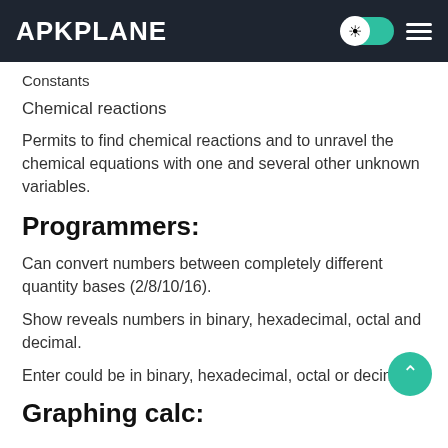APKPLANE
Constants
Chemical reactions
Permits to find chemical reactions and to unravel the chemical equations with one and several other unknown variables.
Programmers:
Can convert numbers between completely different quantity bases (2/8/10/16).
Show reveals numbers in binary, hexadecimal, octal and decimal.
Enter could be in binary, hexadecimal, octal or decimal.
Graphing calc: